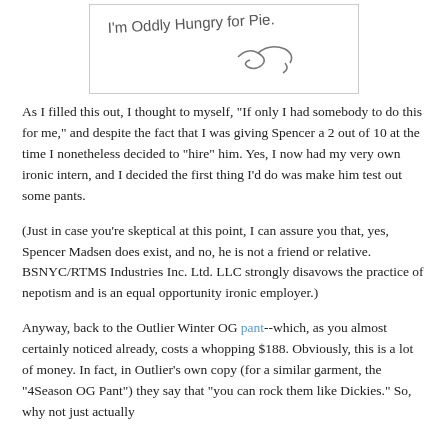[Figure (illustration): Handwritten note on white card/paper reading 'I'm Oddly Hungry for Pie.' with a cursive signature below.]
As I filled this out, I thought to myself, "If only I had somebody to do this for me," and despite the fact that I was giving Spencer a 2 out of 10 at the time I nonetheless decided to "hire" him. Yes, I now had my very own ironic intern, and I decided the first thing I'd do was make him test out some pants.
(Just in case you're skeptical at this point, I can assure you that, yes, Spencer Madsen does exist, and no, he is not a friend or relative. BSNYC/RTMS Industries Inc. Ltd. LLC strongly disavows the practice of nepotism and is an equal opportunity ironic employer.)
Anyway, back to the Outlier Winter OG pant--which, as you almost certainly noticed already, costs a whopping $188. Obviously, this is a lot of money. In fact, in Outlier's own copy (for a similar garment, the "4Season OG Pant") they say that "you can rock them like Dickies." So, why not just actually